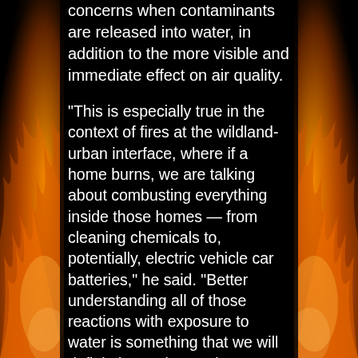concerns when contaminants are released into water, in addition to the more visible and immediate effect on air quality.
“This is especially true in the context of fires at the wildland-urban interface, where if a home burns, we are talking about combusting everything inside those homes — from cleaning chemicals to, potentially, electric vehicle car batteries,” he said. “Better understanding all of those reactions with exposure to water is something that we will definitely need to explore further over the next few years.”
A researcher from Rosario-Ortiz’s lab collect water samples from a creek running through a burn area.
Wildfires are becoming increasingly common in Colorado and the West, thanks to climate change